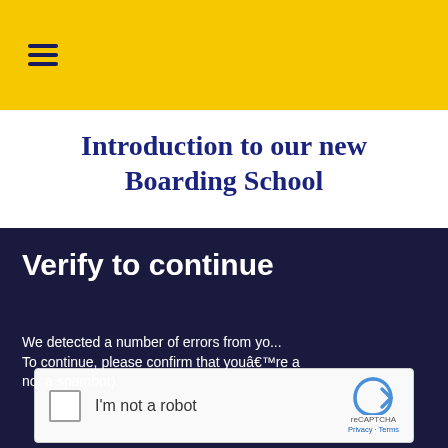☰ (hamburger menu icon)
Introduction to our new Boarding School
[Figure (screenshot): Vimeo 'Verify to continue' overlay on a dark navy background, showing the Vimeo logo watermark over a verification message and a reCAPTCHA widget]
Verify to continue
We detected a number of errors from your network. To continue, please confirm that youâ€™re a human (and not a spambot).
[Figure (other): reCAPTCHA widget with checkbox labeled 'I'm not a robot' and reCAPTCHA logo with Privacy · Terms links]